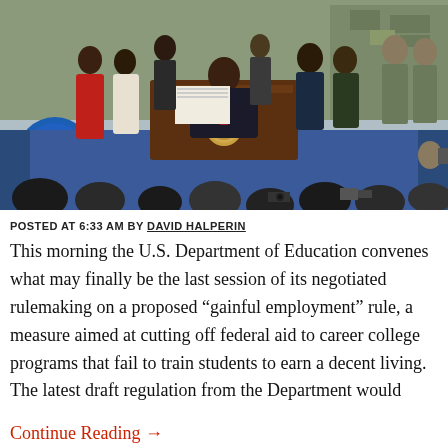[Figure (photo): A person (likely a government official) signing a document at a desk with a presidential seal, surrounded by onlookers including military personnel, women in red and white dresses, and an audience in the foreground photographing the event.]
POSTED AT 6:33 AM BY DAVID HALPERIN
This morning the U.S. Department of Education convenes what may finally be the last session of its negotiated rulemaking on a proposed “gainful employment” rule, a measure aimed at cutting off federal aid to career college programs that fail to train students to earn a decent living.  The latest draft regulation from the Department would
Continue Reading →